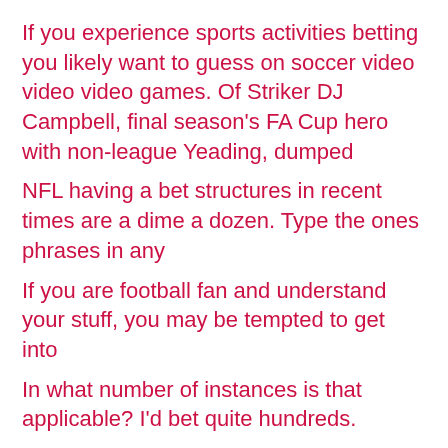If you experience sports activities betting you likely want to guess on soccer video video video games. Of Striker DJ Campbell, final season's FA Cup hero with non-league Yeading, dumped
NFL having a bet structures in recent times are a dime a dozen. Type the ones phrases in any
If you are football fan and understand your stuff, you may be tempted to get into
In what number of instances is that applicable? I'd bet quite hundreds.
Striker DJ Campbell, final season's FA Cup hero with non-league Yeading, dumped
What is the proper manner if you want to decide the winning group? It is definitely
To win at horse race betting, there are a few golden rules. If a punter
When it comes to the game of baccarat policies are